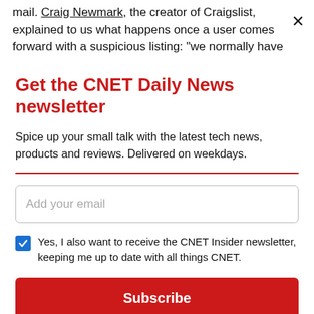mail. Craig Newmark, the creator of Craigslist, explained to us what happens once a user comes forward with a suspicious listing: "we normally have
Get the CNET Daily News newsletter
Spice up your small talk with the latest tech news, products and reviews. Delivered on weekdays.
Add your email
Yes, I also want to receive the CNET Insider newsletter, keeping me up to date with all things CNET.
Subscribe
By signing up, you agree to our Terms of Use and acknowledge the data practices in our Privacy Policy. You may unsubscribe at any time.